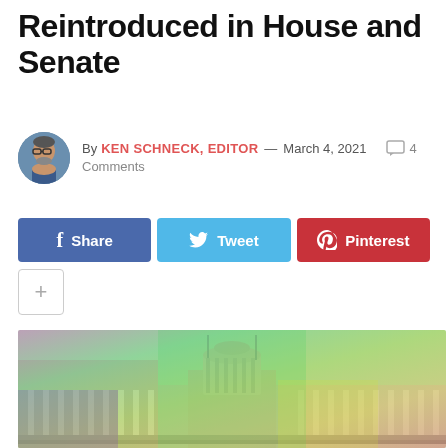Reintroduced in House and Senate
By KEN SCHNECK, EDITOR — March 4, 2021  4 Comments
[Figure (infographic): Social sharing buttons: Facebook Share, Twitter Tweet, Pinterest, and a plus button]
[Figure (photo): Ohio State Capitol building with rainbow color gradient overlay (green, yellow, red, purple tones)]